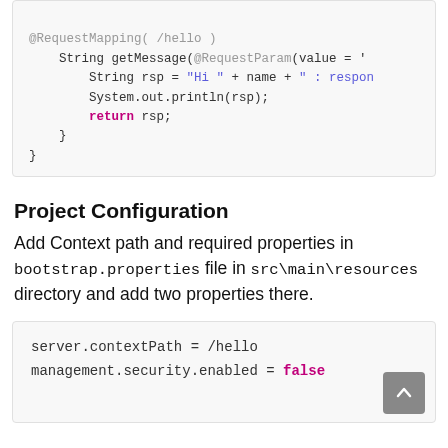[Figure (screenshot): Code snippet showing Java method with @RequestMapping annotation, String getMessage with @RequestParam, string concatenation, System.out.println, and return statement, followed by closing braces]
Project Configuration
Add Context path and required properties in bootstrap.properties file in src\main\resources directory and add two properties there.
[Figure (screenshot): Code block showing: server.contextPath = /hello and management.security.enabled = false]